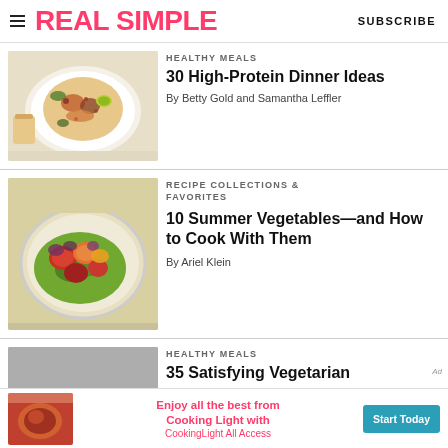REAL SIMPLE | SUBSCRIBE
HEALTHY MEALS
30 High-Protein Dinner Ideas
By Betty Gold and Samantha Leffler
[Figure (photo): Overhead shot of a high-protein dinner bowl with toppings, lime, and a cup on the side]
RECIPE COLLECTIONS & FAVORITES
10 Summer Vegetables—and How to Cook With Them
By Ariel Klein
[Figure (photo): Colorful plate of summer vegetables including tomatoes and greens]
HEALTHY MEALS
35 Satisfying Vegetarian
[Figure (photo): Grey background food photo placeholder]
Enjoy all the best from Cooking Light with CookingLight All Access
Start Today